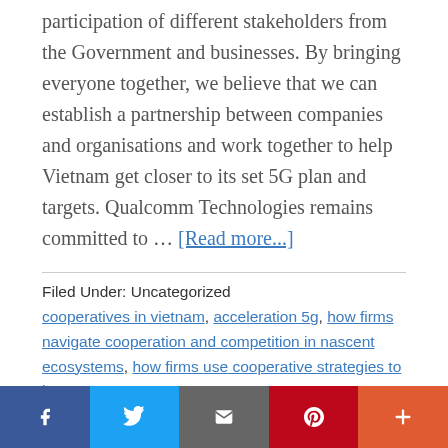participation of different stakeholders from the Government and businesses. By bringing everyone together, we believe that we can establish a partnership between companies and organisations and work together to help Vietnam get closer to its set 5G plan and targets. Qualcomm Technologies remains committed to … [Read more...]
Filed Under: Uncategorized
cooperatives in vietnam, acceleration 5g, how firms navigate cooperation and competition in nascent ecosystems, how firms use cooperative strategies to innovate, vietnam-japan cooperation center, vietnam